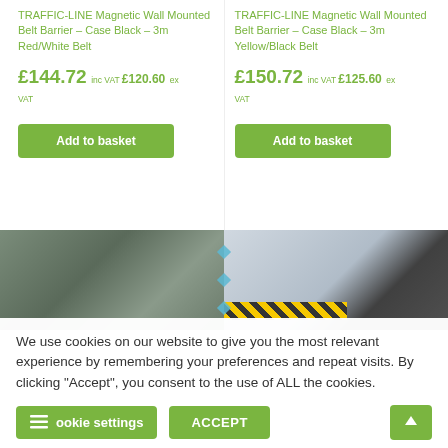TRAFFIC-LINE Magnetic Wall Mounted Belt Barrier – Case Black – 3m Red/White Belt
£144.72 inc VAT £120.60 ex VAT
Add to basket
TRAFFIC-LINE Magnetic Wall Mounted Belt Barrier – Case Black – 3m Yellow/Black Belt
£150.72 inc VAT £125.60 ex VAT
Add to basket
[Figure (photo): Worker in a industrial corridor with pipes overhead; yellow/black belt barrier visible in adjacent photo]
We use cookies on our website to give you the most relevant experience by remembering your preferences and repeat visits. By clicking "Accept", you consent to the use of ALL the cookies.
Cookie settings  ACCEPT